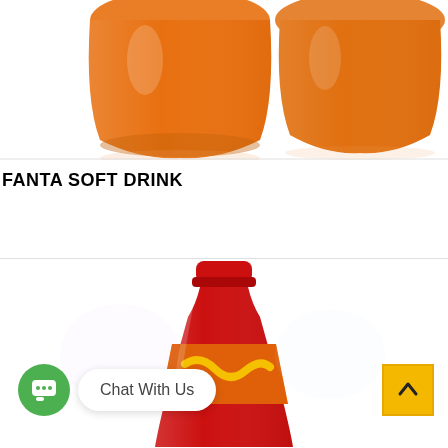[Figure (photo): Two orange/amber Fanta soft drink glasses partially visible at the top of the page, with reflections on a white surface. Cropped top view.]
FANTA SOFT DRINK
[Figure (photo): A red Fanta soft drink bottle with red cap, partially visible in the lower section of the page.]
Chat With Us